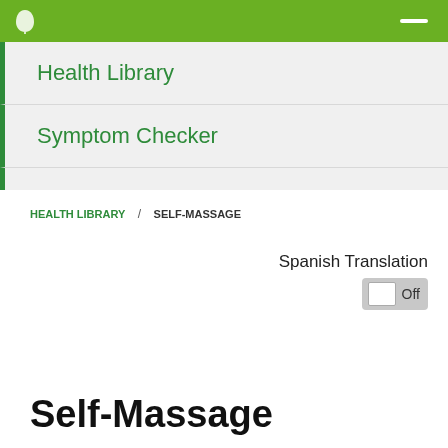Health Library / Self-Massage navigation menu
Health Library
Symptom Checker
Health Topics A-Z
HEALTH LIBRARY / SELF-MASSAGE
Spanish Translation Off
Self-Massage